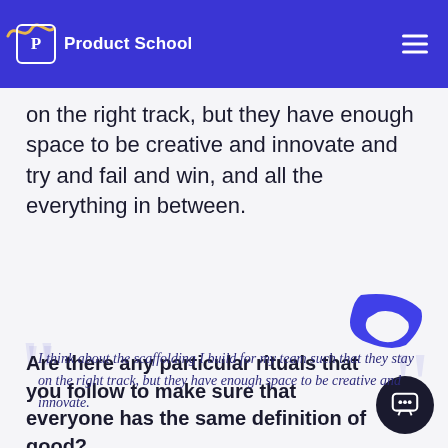Product School
on the right track, but they have enough space to be creative and innovate and try and fail and win, and all the everything in between.
I think about the scaffolding I build for my team such that they stay on the right track, but they have enough space to be creative and innovate.
— Stephanie Neill
Are there any particular rituals that you follow to make sure that everyone has the same definition of good?